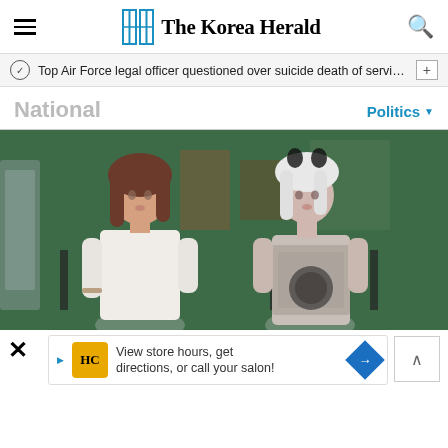The Korea Herald
Top Air Force legal officer questioned over suicide death of servic…
National
Politics
[Figure (photo): Two humanoid mannequin figures seated on chairs in a warehouse/factory setting. Left figure has brown hair wearing a white outfit. Right figure has white/silver hair with torso area blurred.]
View store hours, get directions, or call your salon!